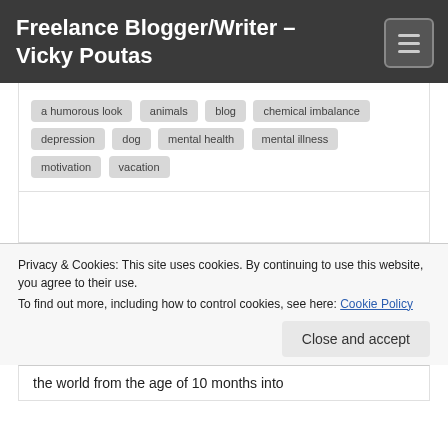Freelance Blogger/Writer – Vicky Poutas
a humorous look
animals
blog
chemical imbalance
depression
dog
mental health
mental illness
motivation
vacation
Privacy & Cookies: This site uses cookies. By continuing to use this website, you agree to their use.
To find out more, including how to control cookies, see here: Cookie Policy
Close and accept
the world from the age of 10 months into